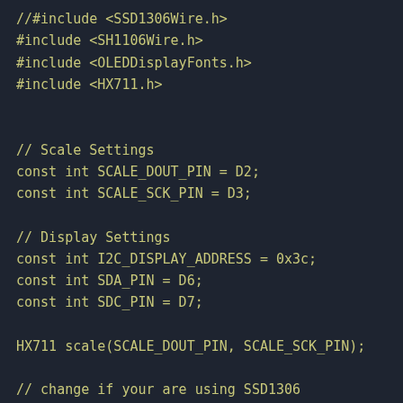[Figure (screenshot): Code editor screenshot showing C++ Arduino code with include directives, constant definitions for scale and display settings, HX711 and SH1106Wire object instantiation, and the beginning of a void setup() function. Dark background with yellow-green monospace text.]